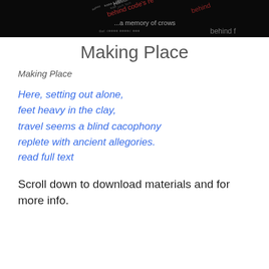[Figure (photo): Dark background image with overlapping text fragments including phrases like 'a memory of crows', 'behind', shown in white and red text on black, appearing as a typographic art piece.]
Making Place
Making Place
Here, setting out alone,
feet heavy in the clay,
travel seems a blind cacophony
replete with ancient allegories.
read full text
Scroll down to download materials and for more info.